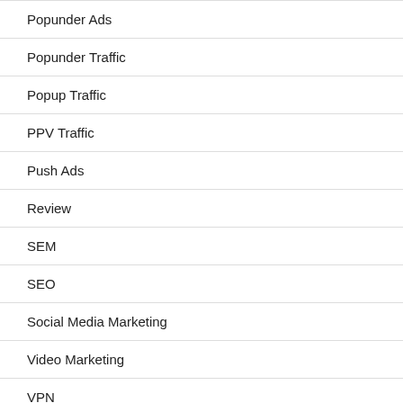Popunder Ads
Popunder Traffic
Popup Traffic
PPV Traffic
Push Ads
Review
SEM
SEO
Social Media Marketing
Video Marketing
VPN
Web Security
Website Traffic